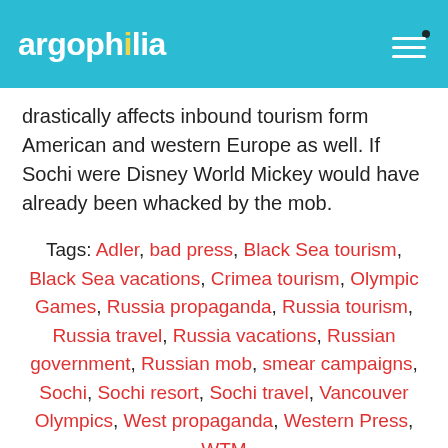argophilia
drastically affects inbound tourism form American and western Europe as well. If Sochi were Disney World Mickey would have already been whacked by the mob.
Tags: Adler, bad press, Black Sea tourism, Black Sea vacations, Crimea tourism, Olympic Games, Russia propaganda, Russia tourism, Russia travel, Russia vacations, Russian government, Russian mob, smear campaigns, Sochi, Sochi resort, Sochi travel, Vancouver Olympics, West propaganda, Western Press, WTM
Sochi 2013 Coming Highlights: The Russia